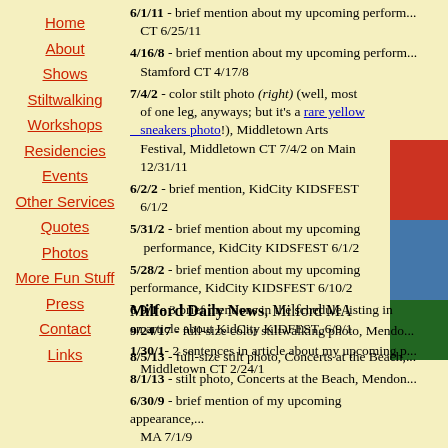6/1/11 - brief mention about my upcoming perform... CT 6/25/11
4/16/8 - brief mention about my upcoming perform... Stamford CT 4/17/8
7/4/2 - color stilt photo (right) (well, most of one leg, anyways; but it's a rare yellow sneakers photo!), Middletown Arts Festival, Middletown CT 7/4/2 on Main 12/31/11
6/2/2 - brief mention, KidCity KIDSFEST 6/1/2
5/31/2 - brief mention about my upcoming performance, KidCity KIDSFEST 6/1/2
5/28/2 - brief mention about my upcoming performance, KidCity KIDSFEST 6/10/2
6/9/1 - 3 brief mentions in the schedule listing in an article about KidCity KIDFEST, 6/9/1
1/30/1 - 2 sentences in article about my upcoming p... Middletown CT 2/24/1
Milford Daily News, Milford MA
9/24/17 - full-size color stiltwalking photo, Mendo...
8/5/13 - full-size stilt photo, Concerts at the Beach,...
8/1/13 - stilt photo, Concerts at the Beach, Mendon...
6/30/9 - brief mention of my upcoming appearance,... MA 7/1/9